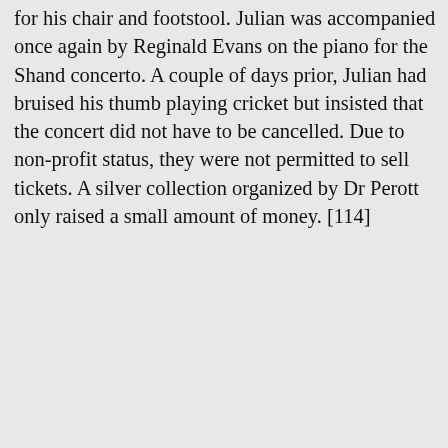for his chair and footstool. Julian was accompanied once again by Reginald Evans on the piano for the Shand concerto. A couple of days prior, Julian had bruised his thumb playing cricket but insisted that the concert did not have to be cancelled. Due to non-profit status, they were not permitted to sell tickets. A silver collection organized by Dr Perott only raised a small amount of money. [114]